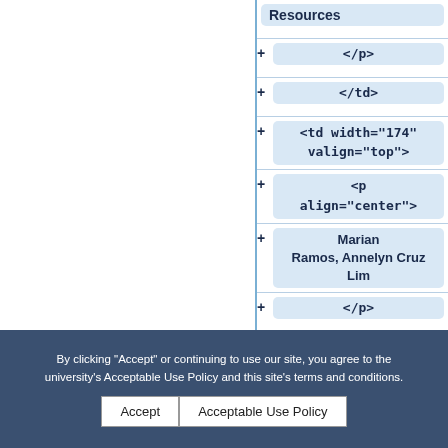[Figure (screenshot): A tree/outline view of HTML source code showing XML/HTML nodes in a document editor. Nodes shown include: Resources, </p>, </td>, <td width="174" valign="top">, <p align="center">, Marian Ramos, Annelyn Cruz Lim, </p>, </td>, <td width="81" valign="top">, <p align="center">.]
By clicking "Accept" or continuing to use our site, you agree to the university's Acceptable Use Policy and this site's terms and conditions.
Accept
Acceptable Use Policy